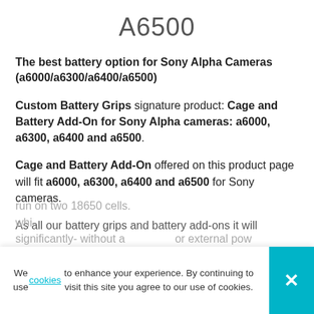A6500
The best battery option for Sony Alpha Cameras (a6000/a6300/a6400/a6500)
Custom Battery Grips signature product: Cage and Battery Add-On for Sony Alpha cameras: a6000, a6300, a6400 and a6500.
Cage and Battery Add-On offered on this product page will fit a6000, a6300, a6400 and a6500 for Sony cameras.
As all our battery grips and battery add-ons it will run on two 18650 cells.
We use cookies to enhance your experience. By continuing to visit this site you agree to our use of cookies.